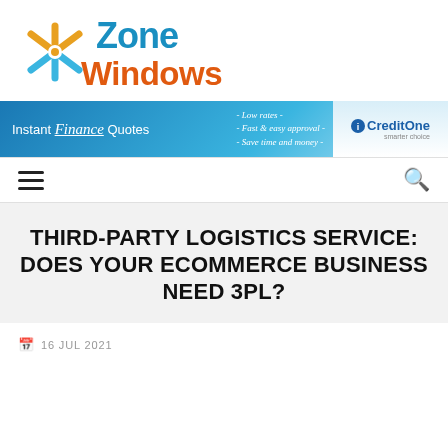[Figure (logo): Zone Windows logo with a stylized star icon and text 'Zone Windows' — 'Zone' in teal/blue, 'Windows' in orange]
[Figure (infographic): Instant Finance Quotes banner ad with blue gradient background. Left: 'Instant Finance Quotes'. Middle: '- Low rates - / - Fast & easy approval - / - Save time and money -'. Right: CreditOne logo on light background.]
☰  🔍
THIRD-PARTY LOGISTICS SERVICE: DOES YOUR ECOMMERCE BUSINESS NEED 3PL?
16 JUL 2021